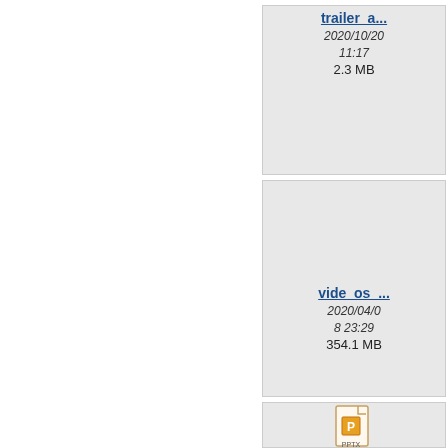[Figure (screenshot): File browser grid view showing file tiles. Left half of page is blank white. Right portion shows two columns of file tiles. Top row: 'trailer_a...' file (2020/10/20 11:17, 2.3 MB) and 'trans...' file (partially visible, 2020/...8 2..., 24.3...). Middle row: 'vide_os_...' file (2020/04/08 23:29, 354.1 MB) and 'welc...' file (2019/...10..., 11 M...) with a small file document icon. Bottom row: a PPTX file icon and another partially visible cell.]